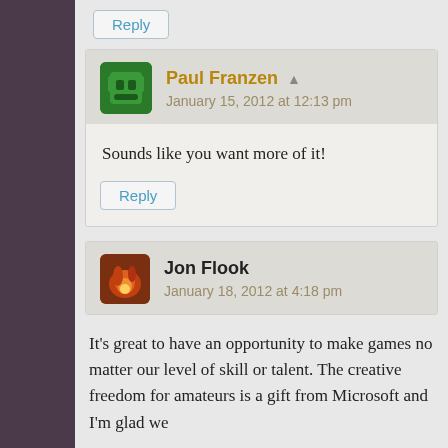Reply
Paul Franzen ▲
January 15, 2012 at 12:13 pm
Sounds like you want more of it!
Reply
Jon Flook
January 18, 2012 at 4:18 pm
It's great to have an opportunity to make games no matter our level of skill or talent. The creative freedom for amateurs is a gift from Microsoft and I'm glad we